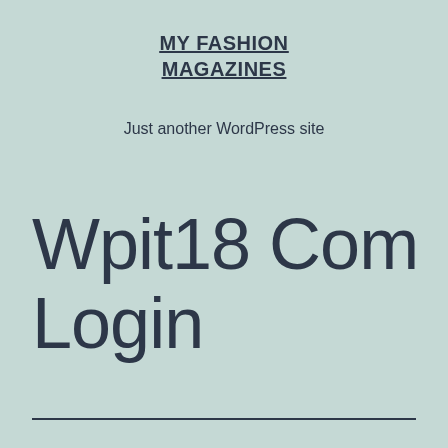MY FASHION MAGAZINES
Just another WordPress site
Wpit18 Com Login